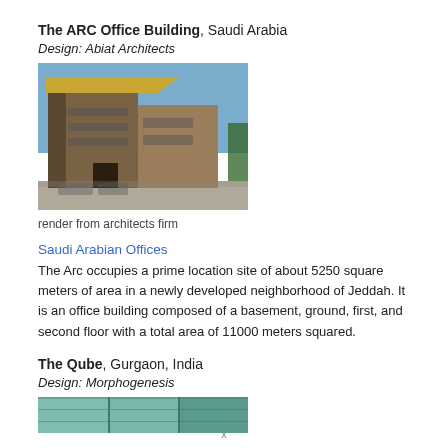The ARC Office Building, Saudi Arabia
Design: Abiat Architects
[Figure (photo): Exterior render of The ARC Office Building showing a modern building with wooden/stone facade, yellow angled roof element, and blue sky background.]
render from architects firm
Saudi Arabian Offices
The Arc occupies a prime location site of about 5250 square meters of area in a newly developed neighborhood of Jeddah. It is an office building composed of a basement, ground, first, and second floor with a total area of 11000 meters squared.
The Qube, Gurgaon, India
Design: Morphogenesis
[Figure (photo): Partial exterior photo of The Qube building showing glass facade with teal/green tinting.]
x